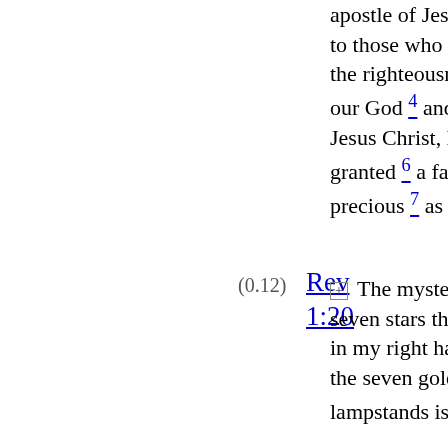apostle of Jesus Christ, to those who through the righteousness of our God [4] and Savior, [5] Jesus Christ, have been granted [6] a faith just as precious [7] as ours.
(0.12) Rev 1:20
[+] The mystery of the seven stars that you saw in my right hand and the seven golden lampstands is this: [1]